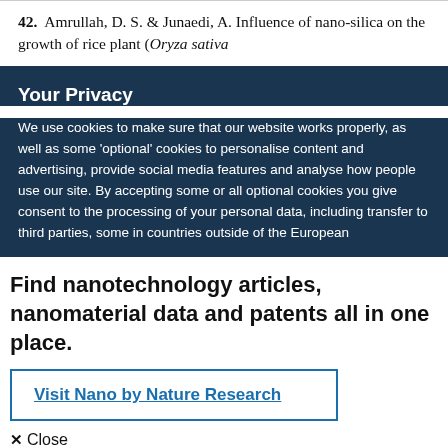42.  Amrullah, D. S. & Junaedi, A. Influence of nano-silica on the growth of rice plant (Oryza sativa
Your Privacy
We use cookies to make sure that our website works properly, as well as some 'optional' cookies to personalise content and advertising, provide social media features and analyse how people use our site. By accepting some or all optional cookies you give consent to the processing of your personal data, including transfer to third parties, some in countries outside of the European
Find nanotechnology articles, nanomaterial data and patents all in one place.
Visit Nano by Nature Research
✕ Close